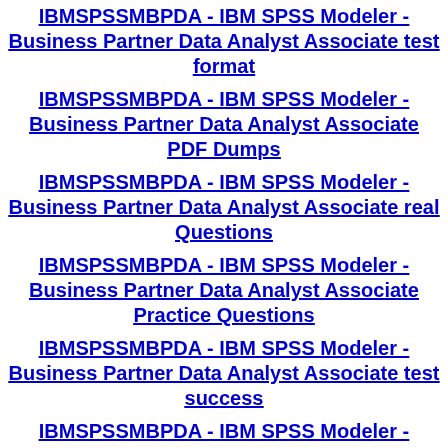IBMSPSSMBPDA - IBM SPSS Modeler - Business Partner Data Analyst Associate test format
IBMSPSSMBPDA - IBM SPSS Modeler - Business Partner Data Analyst Associate PDF Dumps
IBMSPSSMBPDA - IBM SPSS Modeler - Business Partner Data Analyst Associate real Questions
IBMSPSSMBPDA - IBM SPSS Modeler - Business Partner Data Analyst Associate Practice Questions
IBMSPSSMBPDA - IBM SPSS Modeler - Business Partner Data Analyst Associate test success
IBMSPSSMBPDA - IBM SPSS Modeler - Business Partner Data Analyst Associate test